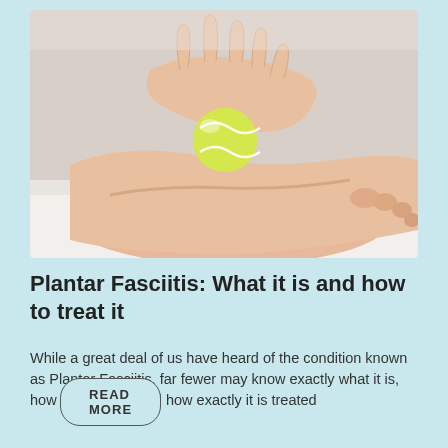[Figure (photo): A close-up photo of a person's foot being massaged with a yellow tennis ball. A hand is pressing the tennis ball against the arch/sole of the foot, which is resting on a white surface.]
Plantar Fasciitis: What it is and how to treat it
While a great deal of us have heard of the condition known as Plantar Fasciitis, far fewer may know exactly what it is, how it affects us and how exactly it is treated
READ MORE